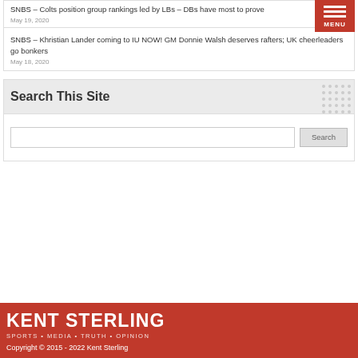SNBS – Colts position group rankings led by LBs – DBs have most to prove
May 19, 2020
SNBS – Khristian Lander coming to IU NOW! GM Donnie Walsh deserves rafters; UK cheerleaders go bonkers
May 18, 2020
Search This Site
KENT STERLING
SPORTS • MEDIA • TRUTH • OPINION
Copyright © 2015 - 2022 Kent Sterling